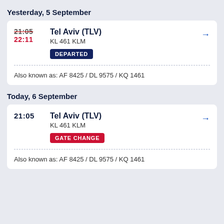Yesterday, 5 September
21:05 (strikethrough) 22:11 Tel Aviv (TLV) KL 461 KLM DEPARTED
Also known as: AF 8425 / DL 9575 / KQ 1461
Today, 6 September
21:05 Tel Aviv (TLV) KL 461 KLM GATE CHANGE
Also known as: AF 8425 / DL 9575 / KQ 1461